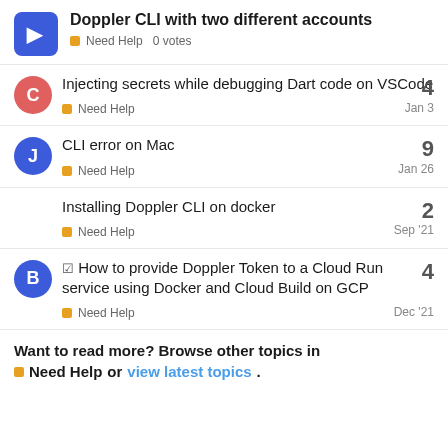Doppler CLI with two different accounts
Need Help  0 votes
Injecting secrets while debugging Dart code on VSCode — Need Help — Jan 3 — 4 replies
CLI error on Mac — Need Help — Jan 26 — 9 replies
Installing Doppler CLI on docker — Need Help — Sep '21 — 2 replies
☑ How to provide Doppler Token to a Cloud Run service using Docker and Cloud Build on GCP — Need Help — Dec '21 — 4 replies
Want to read more? Browse other topics in
Need Help or view latest topics.